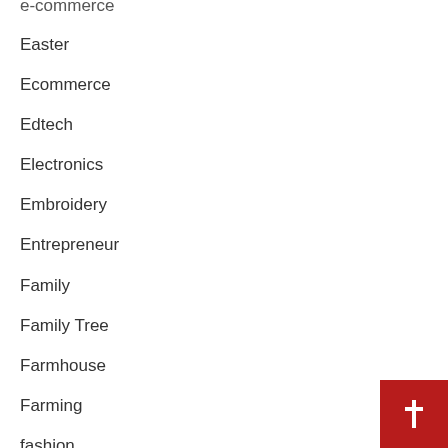e-commerce
Easter
Ecommerce
Edtech
Electronics
Embroidery
Entrepreneur
Family
Family Tree
Farmhouse
Farming
fashion
Fencing
Fitness